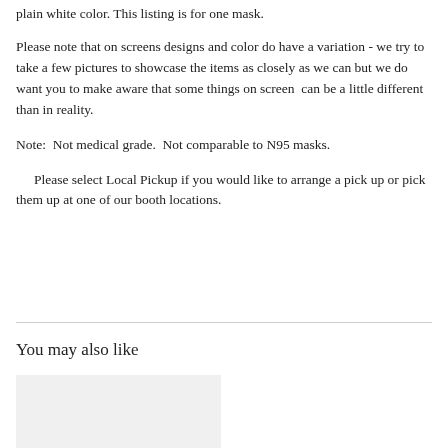plain white color. This listing is for one mask.
Please note that on screens designs and color do have a variation - we try to take a few pictures to showcase the items as closely as we can but we do want you to make aware that some things on screen  can be a little different than in reality.
Note:  Not medical grade.  Not comparable to N95 masks.
Please select Local Pickup if you would like to arrange a pick up or pick them up at one of our booth locations.
You may also like
[Figure (photo): Light gray placeholder image box for product photo]